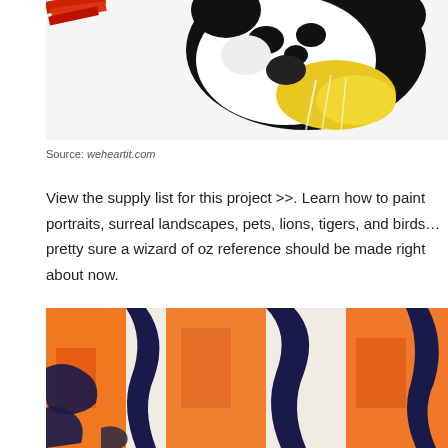[Figure (photo): A colored pencil drawing of a panda face with black and yellow fur, shown upside down, with red colored pencils visible at the top left.]
Source: weheartit.com
View the supply list for this project >>. Learn how to paint portraits, surreal landscapes, pets, lions, tigers, and birds…pretty sure a wizard of oz reference should be made right about now.
[Figure (photo): A close-up colored pencil drawing of tiger stripes in orange, red, and dark blue/black colors on a light background.]